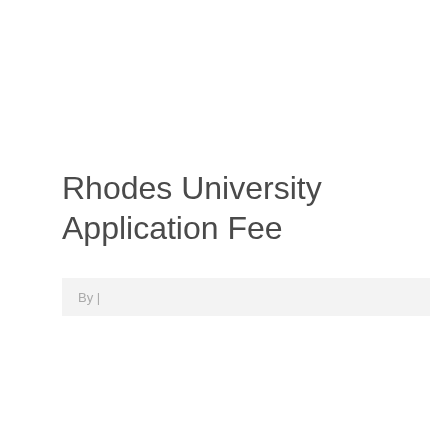Rhodes University Application Fee
By |